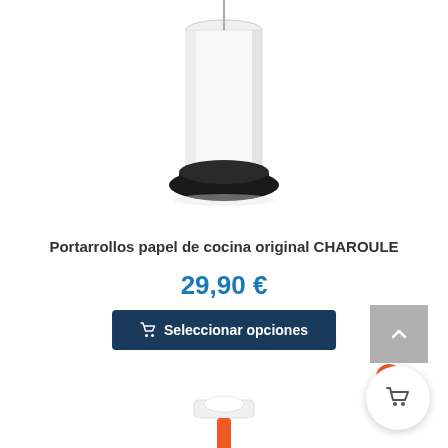[Figure (photo): Partial view of a paper towel holder product (bottom half), white cylindrical body with black base, against white background]
Portarrollos papel de cocina original CHAROULE
29,90 €
Seleccionar opciones
[Figure (photo): Partial view of a second paper towel holder product with orange accents, partially visible at bottom of page]